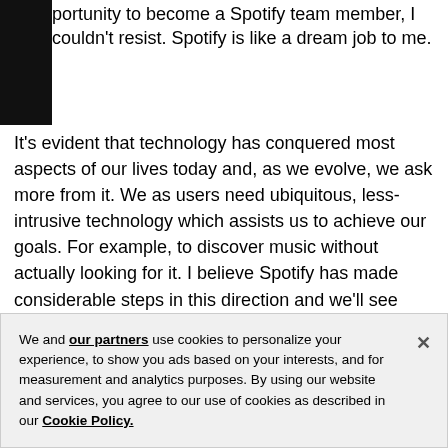portunity to become a Spotify team member, I couldn't resist. Spotify is like a dream job to me.
It's evident that technology has conquered most aspects of our lives today and, as we evolve, we ask more from it. We as users need ubiquitous, less-intrusive technology which assists us to achieve our goals. For example, to discover music without actually looking for it. I believe Spotify has made considerable steps in this direction and we'll see more and more in the future. I'm excited to be part of that journey.
We and our partners use cookies to personalize your experience, to show you ads based on your interests, and for measurement and analytics purposes. By using our website and services, you agree to our use of cookies as described in our Cookie Policy.